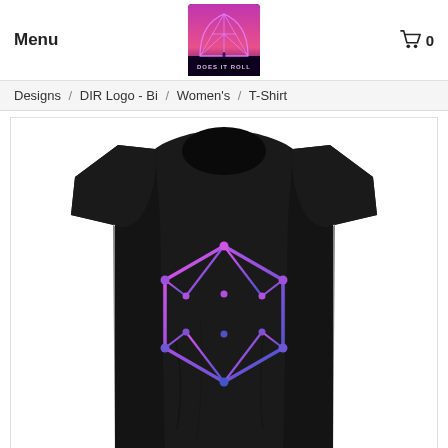Menu | Does It Roll Logo | Cart 0
Designs / DIR Logo - Bi / Women's / T-Shirt
[Figure (photo): Black women's t-shirt with a d20 icosahedron logo printed in a purple-to-blue gradient on the chest, displayed on a white background.]